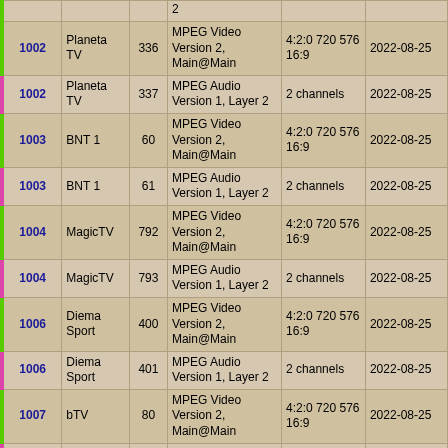| SID | Name | PID | Codec | Info | Date |
| --- | --- | --- | --- | --- | --- |
|  |  |  | 2 |  |  |
| 1002 | Planeta TV | 336 | MPEG Video Version 2, Main@Main | 4:2:0 720 576 16:9 | 2022-08-25 |
| 1002 | Planeta TV | 337 | MPEG Audio Version 1, Layer 2 | 2 channels | 2022-08-25 |
| 1003 | BNT 1 | 60 | MPEG Video Version 2, Main@Main | 4:2:0 720 576 16:9 | 2022-08-25 |
| 1003 | BNT 1 | 61 | MPEG Audio Version 1, Layer 2 | 2 channels | 2022-08-25 |
| 1004 | MagicTV | 792 | MPEG Video Version 2, Main@Main | 4:2:0 720 576 16:9 | 2022-08-25 |
| 1004 | MagicTV | 793 | MPEG Audio Version 1, Layer 2 | 2 channels | 2022-08-25 |
| 1006 | Diema Sport | 400 | MPEG Video Version 2, Main@Main | 4:2:0 720 576 16:9 | 2022-08-25 |
| 1006 | Diema Sport | 401 | MPEG Audio Version 1, Layer 2 | 2 channels | 2022-08-25 |
| 1007 | bTV | 80 | MPEG Video Version 2, Main@Main | 4:2:0 720 576 16:9 | 2022-08-25 |
| 1007 | bTV | 81 | MPEG Audio Version 1, Layer 2 | 2 channels | 2022-08-25 |